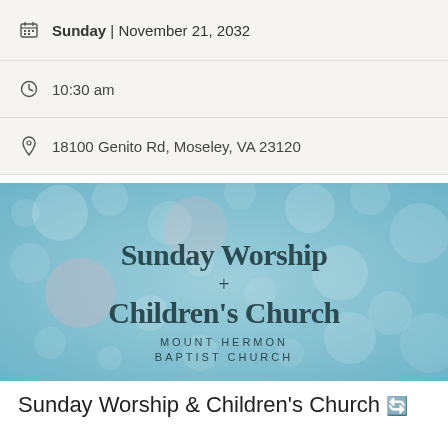Sunday | November 21, 2032
10:30 am
18100 Genito Rd, Moseley, VA 23120
[Figure (illustration): Bokeh-style image with soft teal/blue background and blurred circular light spots. Center text reads 'Sunday Worship + Children's Church' in large serif font, with 'MOUNT HERMON BAPTIST CHURCH' in smaller spaced caps below.]
Sunday Worship & Children's Church ↻